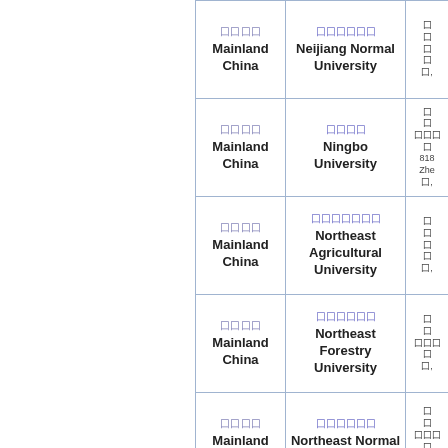| Region | Institution | Details |
| --- | --- | --- |
| 囗囗囗囗
Mainland China | 囗囗囗囗囗囗
Neijiang Normal University | 囗, |
| 囗囗囗囗
Mainland China | 囗囗囗囗
Ningbo University | 囗囗囗囗
818
Zhe
囗, |
| 囗囗囗囗
Mainland China | 囗囗囗囗囗囗囗
Northeast Agricultural University | 囗, |
| 囗囗囗囗
Mainland China | 囗囗囗囗囗囗
Northeast Forestry University | 囗囗囗囗
囗, |
| 囗囗囗囗
Mainland China | 囗囗囗囗囗囗
Northeast Normal University | 囗囗囗囗 |